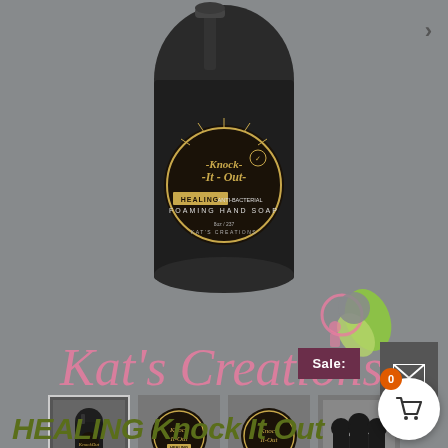[Figure (photo): Product photo of 'Knock-It-Out Healing Anti-Bacterial Foaming Hand Soap' by Kat's Creations, showing a black pump bottle with a circular label and the Kat's Creations pink/green logo overlay on a grey background.]
[Figure (photo): Thumbnail strip showing four product images: pump bottle, top-view of lid label, another lid view, and multiple bottles in a display.]
Sale:
HEALING Knock It Out Foaming Hand Soap